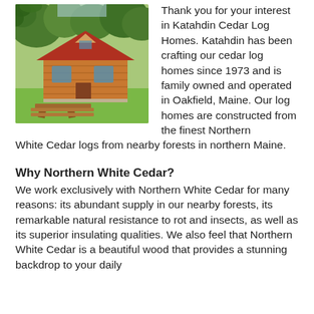[Figure (photo): A cedar log cabin home surrounded by green trees and grass, with a wooden picnic table in the foreground.]
Thank you for your interest in Katahdin Cedar Log Homes. Katahdin has been crafting our cedar log homes since 1973 and is family owned and operated in Oakfield, Maine. Our log homes are constructed from the finest Northern White Cedar logs from nearby forests in northern Maine.
Why Northern White Cedar?
We work exclusively with Northern White Cedar for many reasons: its abundant supply in our nearby forests, its remarkable natural resistance to rot and insects, as well as its superior insulating qualities. We also feel that Northern White Cedar is a beautiful wood that provides a stunning backdrop to your daily